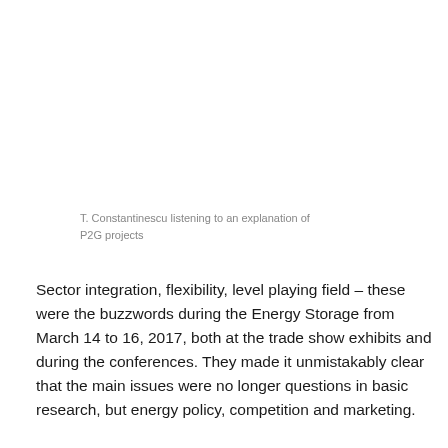[Figure (photo): Photo of T. Constantinescu listening to an explanation of P2G projects (blank/white area representing image)]
T. Constantinescu listening to an explanation of P2G projects
Sector integration, flexibility, level playing field – these were the buzzwords during the Energy Storage from March 14 to 16, 2017, both at the trade show exhibits and during the conferences. They made it unmistakably clear that the main issues were no longer questions in basic research, but energy policy, competition and marketing.